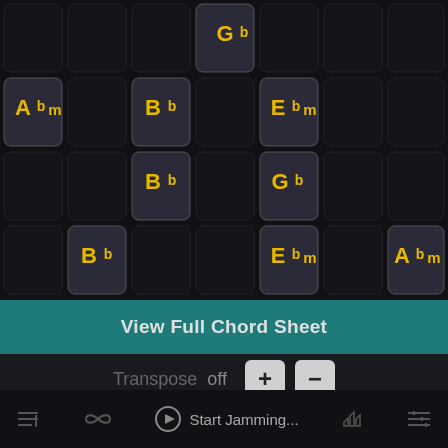[Figure (screenshot): Music app chord grid showing chord buttons: Gb, Abm, Bb, Ebm, Bb, Gb, Bb, Ebm, Abm arranged in a 4x7 dark grid layout]
View Full Chord Sheet
Transpose  off
Start Jamming...